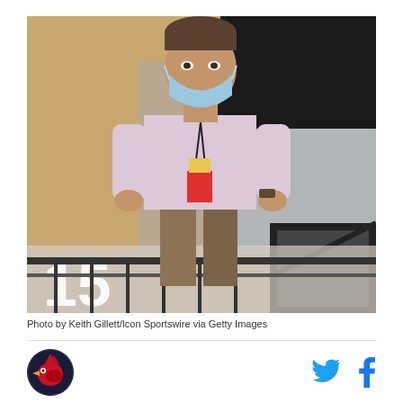[Figure (photo): A man wearing a light blue surgical mask and a pink/lavender dress shirt with rolled-up sleeves stands with his hands on his hips on a balcony or elevated platform. He has a lanyard with credentials around his neck. The background shows a building facade with a large dark window and a metal railing. The number '15' is visible in white in the lower left corner of the image.]
Photo by Keith Gillett/Icon Sportswire via Getty Images
[Figure (logo): Arizona Cardinals logo — a cardinal bird head in red on a dark circular background]
[Figure (other): Twitter/X bird icon in blue and Facebook 'f' icon in blue — social media sharing icons]